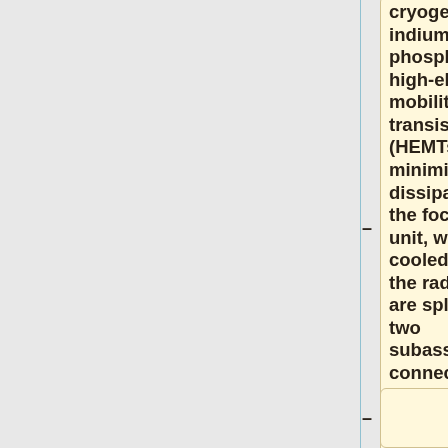cryogenic indium phosphide (InP) high-electron-mobility transistors (HEMTs). To minimise power dissipation in the focal plane unit, which is cooled to 20 K, the radiometers are split into two subassemblies connected by a set of waveguides, as shown in figure 1, left panel.